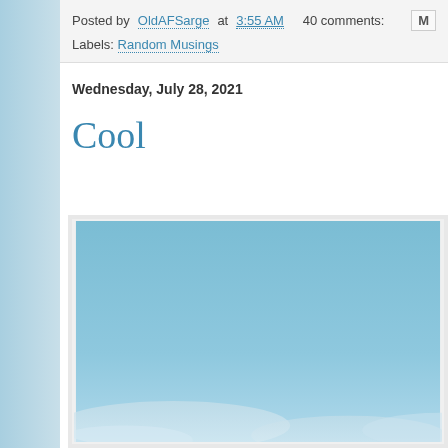Posted by OldAFSarge at 3:55 AM   40 comments:   M
Labels: Random Musings
Wednesday, July 28, 2021
Cool
[Figure (photo): Blue sky with some clouds at the bottom, partially cropped]